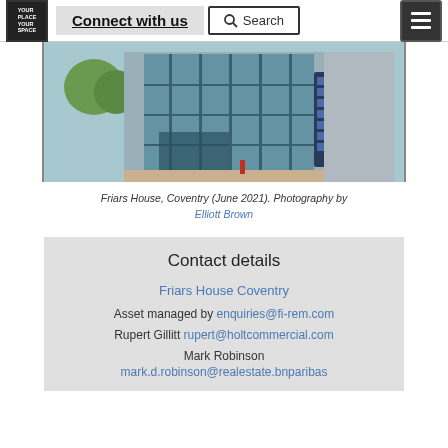Connect with us | Search | Menu
[Figure (photo): Photograph of Friars House, Coventry — a modern glass-fronted office building exterior with a blue sign board.]
Friars House, Coventry (June 2021). Photography by Elliott Brown
Contact details
Friars House Coventry
Asset managed by enquiries@fi-rem.com
Rupert Gillitt rupert@holtcommercial.com
Mark Robinson mark.d.robinson@realestate.bnparibas